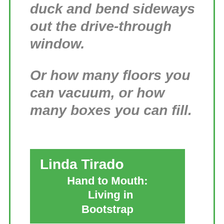duck and bend sideways out the drive-through window.
Or how many floors you can vacuum, or how many boxes you can fill.
Linda Tirado
Hand to Mouth: Living in Bootstrap